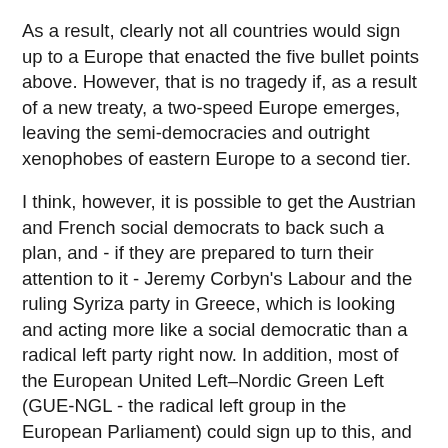As a result, clearly not all countries would sign up to a Europe that enacted the five bullet points above. However, that is no tragedy if, as a result of a new treaty, a two-speed Europe emerges, leaving the semi-democracies and outright xenophobes of eastern Europe to a second tier.
I think, however, it is possible to get the Austrian and French social democrats to back such a plan, and - if they are prepared to turn their attention to it - Jeremy Corbyn's Labour and the ruling Syriza party in Greece, which is looking and acting more like a social democratic than a radical left party right now. In addition, most of the European United Left–Nordic Green Left (GUE-NGL - the radical left group in the European Parliament) could sign up to this, and such Green parties prepared to wake up and smell the organic coffee of a revolt against the status quo.